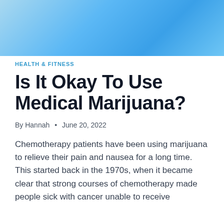[Figure (illustration): Light blue gradient banner header image with geometric/abstract pattern in shades of blue]
HEALTH & FITNESS
Is It Okay To Use Medical Marijuana?
By Hannah • June 20, 2022
Chemotherapy patients have been using marijuana to relieve their pain and nausea for a long time. This started back in the 1970s, when it became clear that strong courses of chemotherapy made people sick with cancer unable to receive